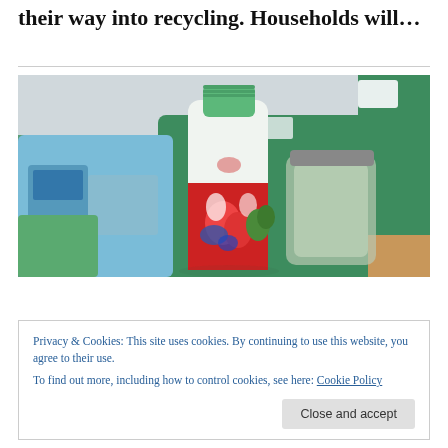their way into recycling. Households will…
[Figure (photo): A green recycling bag containing a plastic bottle with a red and white label with a green cap, along with other recyclable items, photographed close up.]
We use cookies on our website to give you the most relevant
Privacy & Cookies: This site uses cookies. By continuing to use this website, you agree to their use.
To find out more, including how to control cookies, see here: Cookie Policy
Close and accept